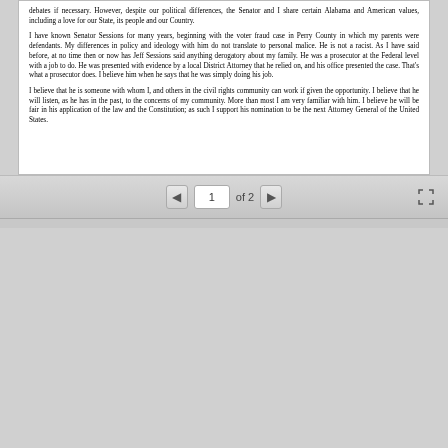debates if necessary. However, despite our political differences, the Senator and I share certain Alabama and American values, including a love for our State, its people and our Country.
I have known Senator Sessions for many years, beginning with the voter fraud case in Perry County in which my parents were defendants. My differences in policy and ideology with him do not translate to personal malice. He is not a racist. As I have said before, at no time then or now has Jeff Sessions said anything derogatory about my family. He was a prosecutor at the Federal level with a job to do. He was presented with evidence by a local District Attorney that he relied on, and his office presented the case. That's what a prosecutor does. I believe him when he says that he was simply doing his job.
I believe that he is someone with whom I, and others in the civil rights community can work if given the opportunity. I believe that he will listen, as he has in the past, to the concerns of my community. More than most I am very familiar with him. I believe he will be fair in his application of the law and the Constitution; as such I support his nomination to be the next Attorney General of the United States.
1 of 2
Gray, Langford, Sapp, McGowan, Gray, Gray & Nathanson, P.C.
ATTORNEYS AND COUNSELORS
P.O. BOX 830239
MONTGOMERY, AL 36117
TELEPHONE: ALABAMA 36103-0239
(334) 727-0220
Fax (334) 727-5677
THE BAILEY BUILDING, STE. 200
400 SOUTH UNION STREET
MONTGOMERY, ALABAMA 36104
(334) 260-0535
FAX (334) 269-0188
FRED D. GRAY**
WALTER E. MCGOWAN
PHILLIS GRAY, JR.**
STANLEY T. GRAY**
JILLAN NATHANSON***
BRIDGETT VASSER GRAY
CHARLES D. LANGFORD
(1977 - 1995)
November 22, 2016